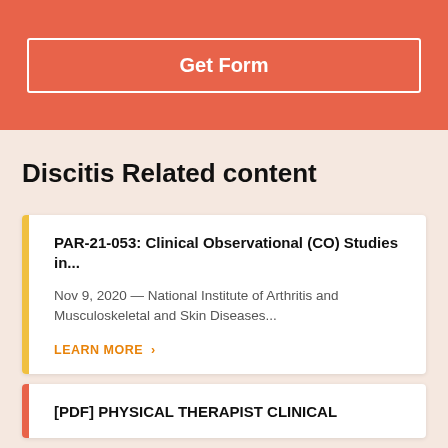Get Form
Discitis Related content
PAR-21-053: Clinical Observational (CO) Studies in...
Nov 9, 2020 — National Institute of Arthritis and Musculoskeletal and Skin Diseases...
LEARN MORE >
[PDF] PHYSICAL THERAPIST CLINICAL